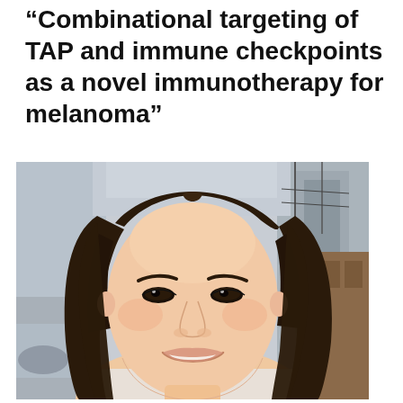Combinational targeting of TAP and immune checkpoints as a novel immunotherapy for melanoma”
[Figure (photo): Headshot of a young woman with long dark brown straight hair, smiling, photographed outdoors with a blurred urban background.]